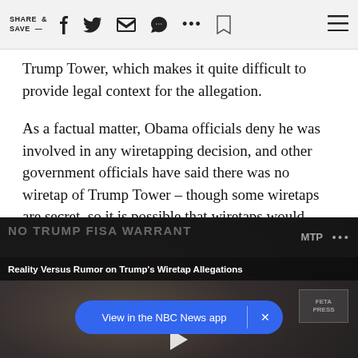SHARE & SAVE —
Trump Tower, which makes it quite difficult to provide legal context for the allegation.
As a factual matter, Obama officials deny he was involved in any wiretapping decision, and other government officials have said there was no wiretap of Trump Tower – though some wiretaps are secret, so it is possible that wiretaps would exist with very few people knowing about them.
[Figure (screenshot): Embedded video player with caption 'Reality Versus Rumor on Trump's Wiretap Allegations' and background text 'NO TRUMP FISA WARRANT'. Shows MTP badge and NBC News app prompt overlay with 'View in the NBC News app' button.]